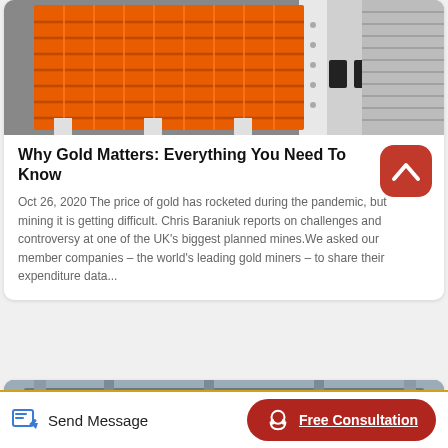[Figure (photo): Industrial orange metal grating/screen equipment with white structural frame, industrial setting]
Why Gold Matters: Everything You Need To Know
Oct 26, 2020 The price of gold has rocketed during the pandemic, but mining it is getting difficult. Chris Baraniuk reports on challenges and controversy at one of the UK's biggest planned mines.We asked our member companies – the world's leading gold miners – to share their expenditure data...
[Figure (photo): Industrial building interior with overhead structures and conveyor or metal framework, partially visible]
Send Message
Free Consultation